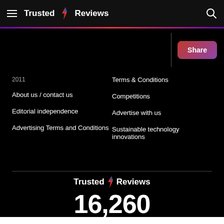Trusted Reviews (navigation bar with hamburger menu and search icon)
[Figure (logo): Share button with purple-to-red gradient]
2011
About us / contact us
Editorial independence
Advertising Terms and Conditions
Terms & Conditions
Competitions
Advertise with us
Sustainable technology innovations
[Figure (logo): Trusted Reviews logo with lightning bolt]
16,260
Products tested and reviewed since 2003